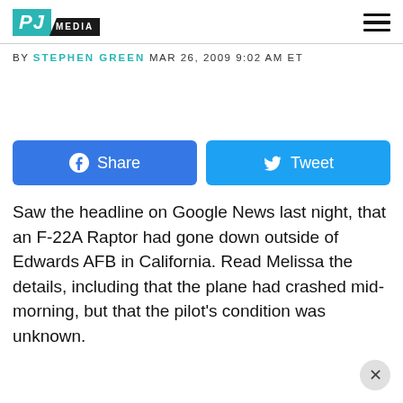PJ MEDIA
BY STEPHEN GREEN MAR 26, 2009 9:02 AM ET
[Figure (other): Facebook Share button and Twitter Tweet button]
Saw the headline on Google News last night, that an F-22A Raptor had gone down outside of Edwards AFB in California. Read Melissa the details, including that the plane had crashed mid-morning, but that the pilot’s condition was unknown.